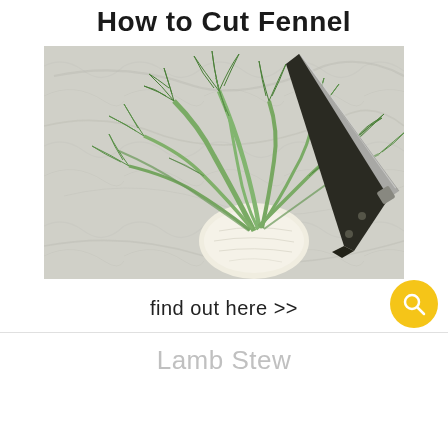How to Cut Fennel
[Figure (photo): A whole fennel bulb with green fronds laid on a white marble surface next to a large chef's knife with a black handle]
find out here >>
Lamb Stew